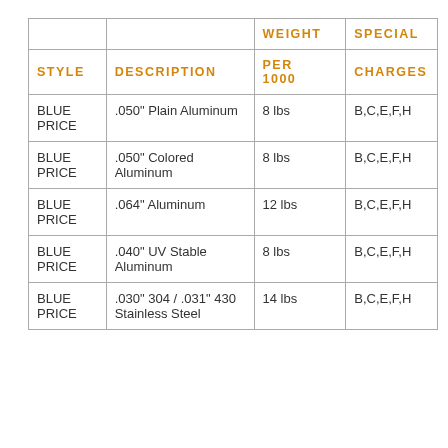| STYLE | DESCRIPTION | WEIGHT PER 1000 | SPECIAL CHARGES |
| --- | --- | --- | --- |
| BLUE PRICE | .050" Plain Aluminum | 8 lbs | B,C,E,F,H |
| BLUE PRICE | .050" Colored Aluminum | 8 lbs | B,C,E,F,H |
| BLUE PRICE | .064" Aluminum | 12 lbs | B,C,E,F,H |
| BLUE PRICE | .040" UV Stable Aluminum | 8 lbs | B,C,E,F,H |
| BLUE PRICE | .030" 304 / .031" 430 Stainless Steel | 14 lbs | B,C,E,F,H |